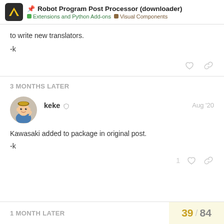Robot Program Post Processor (downloader) | Extensions and Python Add-ons | Visual Components
to write new translators.
-k
3 MONTHS LATER
keke  Aug '20
Kawasaki added to package in original post.
-k
1 MONTH LATER
39 / 84